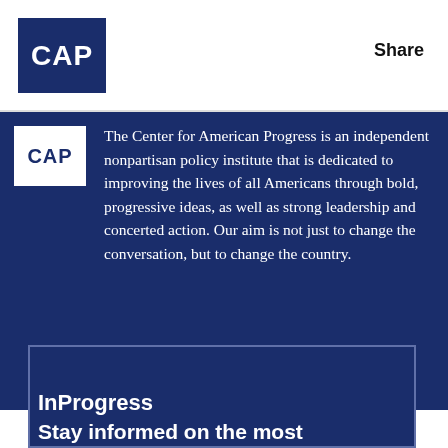[Figure (logo): CAP (Center for American Progress) logo - white text on dark navy blue square background, top left of header]
Share
[Figure (logo): CAP logo - navy text on white square, smaller version in dark blue section]
The Center for American Progress is an independent nonpartisan policy institute that is dedicated to improving the lives of all Americans through bold, progressive ideas, as well as strong leadership and concerted action. Our aim is not just to change the conversation, but to change the country.
[Figure (infographic): Social media icons row: Twitter, Facebook, YouTube, Instagram, LinkedIn - all white on dark navy background]
InProgress
Stay informed on the most